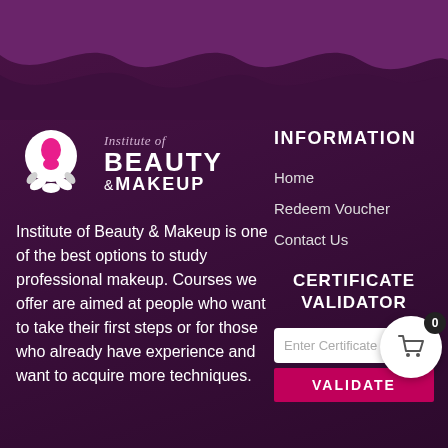[Figure (illustration): Wave decorative header with white, light purple, and dark purple wave shapes on top of dark purple background]
[Figure (logo): Institute of Beauty & Makeup logo: white circular icon with female silhouette in pink and white lotus/flower base, with script 'Institute of' and bold text BEAUTY & MAKEUP in white]
Institute of Beauty & Makeup is one of the best options to study professional makeup. Courses we offer are aimed at people who want to take their first steps or for those who already have experience and want to acquire more techniques.
INFORMATION
Home
Redeem Voucher
Contact Us
CERTIFICATE VALIDATOR
Enter Certificate Co[de]